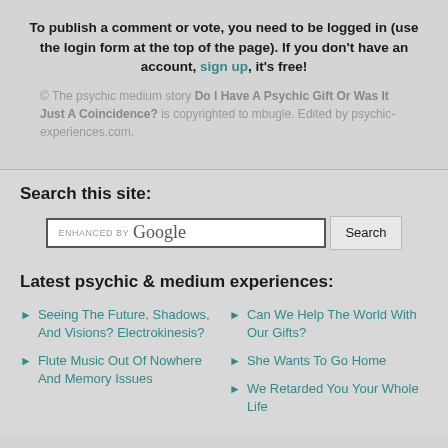To publish a comment or vote, you need to be logged in (use the login form at the top of the page). If you don't have an account, sign up, it's free!
© The psychic medium story Do I Have A Psychic Gift Or Was It Just A Coincidence? is copyrighted to mbugle. Edited by psychic-experiences.com.
Search this site:
Latest psychic & medium experiences:
Seeing The Future, Shadows, And Visions? Electrokinesis?
Can We Help The World With Our Gifts?
Flute Music Out Of Nowhere And Memory Issues
She Wants To Go Home
We Retarded You Your Whole Life